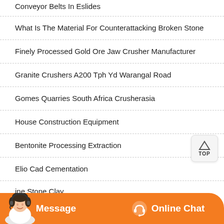Conveyor Belts In Eslides
What Is The Material For Counterattacking Broken Stone
Finely Processed Gold Ore Jaw Crusher Manufacturer
Granite Crushers A200 Tph Yd Warangal Road
Gomes Quarries South Africa Crusherasia
House Construction Equipment
Bentonite Processing Extraction
Elio Cad Cementation
...ine Stone Clay